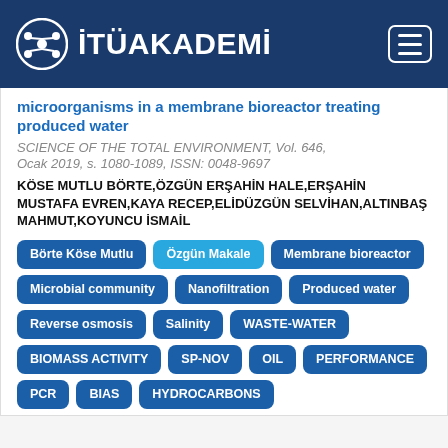İTÜAKADEMİ
microorganisms in a membrane bioreactor treating produced water
SCIENCE OF THE TOTAL ENVIRONMENT, Vol. 646, Ocak 2019, s. 1080-1089, ISSN: 0048-9697
KÖSE MUTLU BÖRTE,ÖZGÜN ERŞAHİN HALE,ERŞAHİN MUSTAFA EVREN,KAYA RECEP,ELİDÜZGÜN SELVİHAN,ALTINBAŞ MAHMUT,KOYUNCU İSMAİL
Börte Köse Mutlu
Özgün Makale
Membrane bioreactor
Microbial community
Nanofiltration
Produced water
Reverse osmosis
Salinity
WASTE-WATER
BIOMASS ACTIVITY
SP-NOV
OIL
PERFORMANCE
PCR
BIAS
HYDROCARBONS